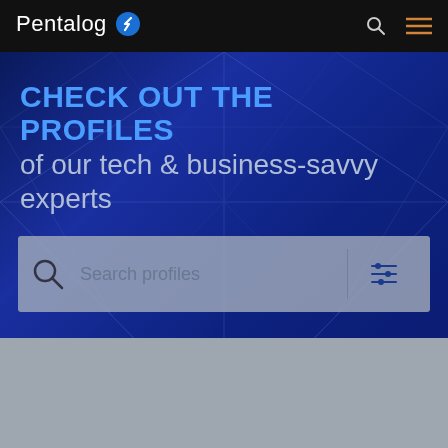Pentalog
CHECK OUT THE PROFILES of our tech & business-savvy experts
[Figure (screenshot): Search bar with magnifying glass icon, placeholder text 'Search profiles', and a filter/sliders icon on the right]